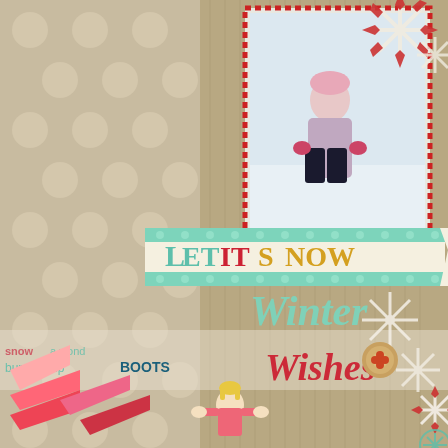[Figure (photo): A scrapbook layout page featuring a winter theme. The background has tan/beige striped wood grain paper with large polka dots on the left side. Center-right shows a photo of a young child in a pink winter coat and hat playing in the snow, framed with a red and white dashed border. Below the photo is a banner reading 'LET IT SNOW' in colorful letters (green, red, gold) on a cream background with mint green polka dot trim. Overlapping decorative text elements include 'Winter Wishes' in teal/mint script and 'Boots' in dark teal block letters. The lower left has red and pink chevron/arrow shapes. The lower right area shows decorative snowflake cutouts, a cartoon girl figure in red, a wooden button embellishment, and small decorative stickers. Background text strips with winter-themed words like 'bundled up', 'wonder', 'snow' are visible.]